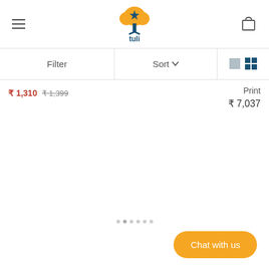[Figure (logo): Tuli brand logo: yellow cloud shape with blue tree/plant icon and 'tuli' text in blue below]
Filter
Sort
₹ 1,310  ₹ 1,399
Print
₹ 7,037
Chat with us